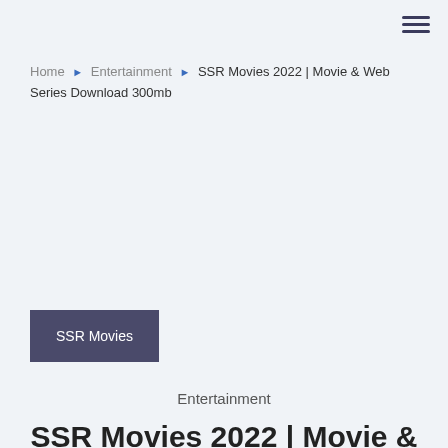≡
Home ▶ Entertainment ▶ SSR Movies 2022 | Movie & Web Series Download 300mb
[Figure (other): Advertisement / blank area]
SSR Movies
Entertainment
SSR Movies 2022 | Movie &